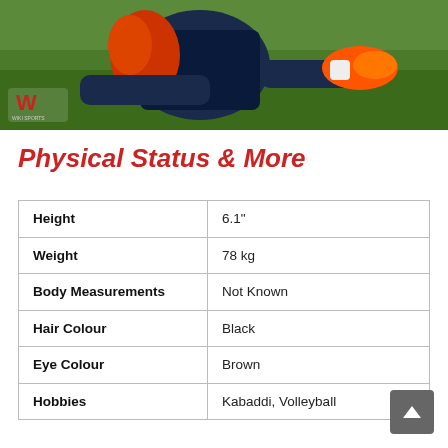[Figure (photo): Sports player (cricket/kabaddi player) in dark navy uniform with orange glove/equipment and orange shoes, on green grass background, with a W-logo (website logo) in bottom-left corner of the photo.]
Physical Status & More
| Attribute | Value |
| --- | --- |
| Height | 6.1" |
| Weight | 78 kg |
| Body Measurements | Not Known |
| Hair Colour | Black |
| Eye Colour | Brown |
| Hobbies | Kabaddi, Volleyball |